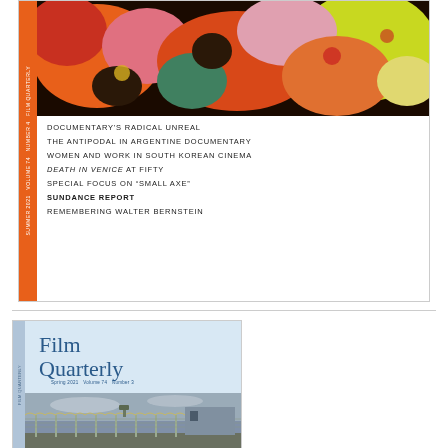[Figure (illustration): Top portion of a Film Quarterly magazine cover showing colorful abstract artwork with orange, red, yellow, green organic shapes on dark background, with orange spine on left side showing rotated text, and table of contents listing articles]
DOCUMENTARY'S RADICAL UNREAL
THE ANTIPODAL IN ARGENTINE DOCUMENTARY
WOMEN AND WORK IN SOUTH KOREAN CINEMA
DEATH IN VENICE AT FIFTY
SPECIAL FOCUS ON "SMALL AXE"
SUNDANCE REPORT
REMEMBERING WALTER BERNSTEIN
[Figure (illustration): Bottom portion of a Film Quarterly magazine cover (Spring 2021, Volume 74, Number 3) showing the Film Quarterly logo in blue serif text on light blue background, with a photo below of a prison or detention facility with barbed wire fence]